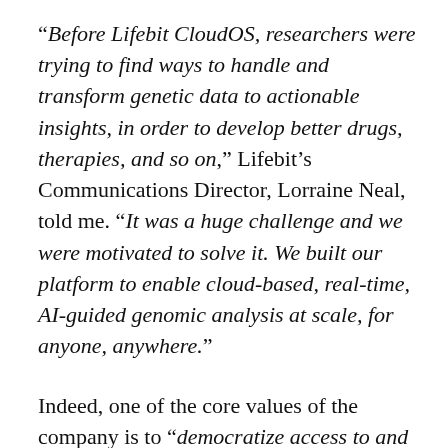“Before Lifebit CloudOS, researchers were trying to find ways to handle and transform genetic data to actionable insights, in order to develop better drugs, therapies, and so on,” Lifebit’s Communications Director, Lorraine Neal, told me. “It was a huge challenge and we were motivated to solve it. We built our platform to enable cloud-based, real-time, AI-guided genomic analysis at scale, for anyone, anywhere.”

Indeed, one of the core values of the company is to “democratize access to and understanding of genomics and biomedical data in order to push forward